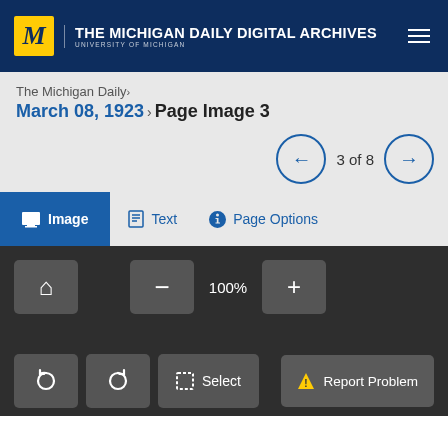THE MICHIGAN DAILY DIGITAL ARCHIVES — UNIVERSITY OF MICHIGAN
The Michigan Daily ›
March 08, 1923 › Page Image 3
3 of 8
Image   Text   Page Options
100%
Select
Report Problem